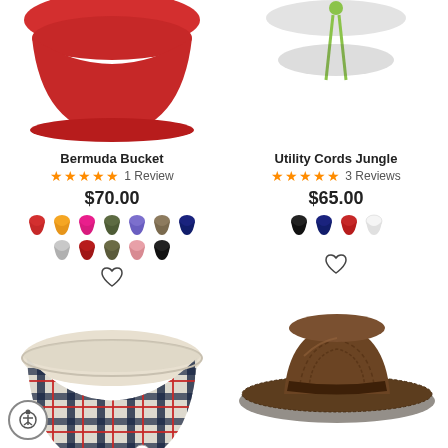[Figure (photo): Red Bermuda Bucket hat, partially cropped at top]
[Figure (photo): Utility Cords Jungle hat with yellow-green cords, partially cropped at top]
Bermuda Bucket
★★★★★ 1 Review
$70.00
[Figure (infographic): Color swatches for Bermuda Bucket: red, yellow, pink, olive, purple, khaki, navy, light gray, red, olive, pink, black]
Utility Cords Jungle
★★★★★ 3 Reviews
$65.00
[Figure (infographic): Color swatches for Utility Cords Jungle: black, navy, red, white]
[Figure (photo): Plaid bucket hat (navy/cream plaid) in bottom left]
[Figure (photo): Brown distressed wide-brim hat in bottom right]